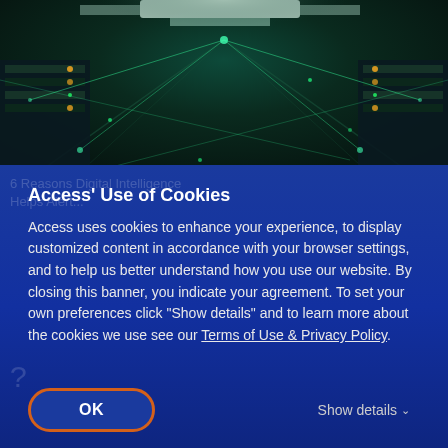[Figure (photo): Data center corridor with glowing green network connection lines overlaid, creating a futuristic tech aesthetic. Server racks visible on both sides with bright ceiling lights.]
Access' Use of Cookies
Access uses cookies to enhance your experience, to display customized content in accordance with your browser settings, and to help us better understand how you use our website. By closing this banner, you indicate your agreement. To set your own preferences click "Show details" and to learn more about the cookies we use see our Terms of Use & Privacy Policy.
OK
Show details